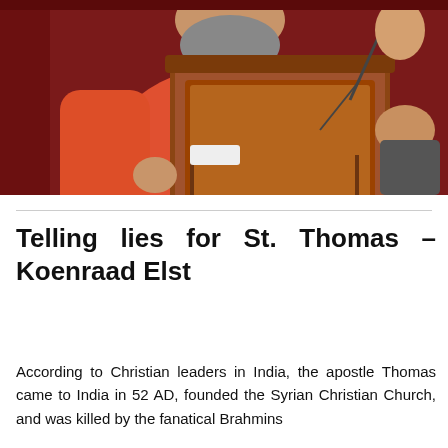[Figure (photo): A heavyset man in a red/orange short-sleeve shirt standing at a wooden podium/lectern, speaking into a microphone. Another person is visible in the background to the right.]
Telling lies for St. Thomas – Koenraad Elst
According to Christian leaders in India, the apostle Thomas came to India in 52 AD, founded the Syrian Christian Church, and was killed by the fanatical Brahmins